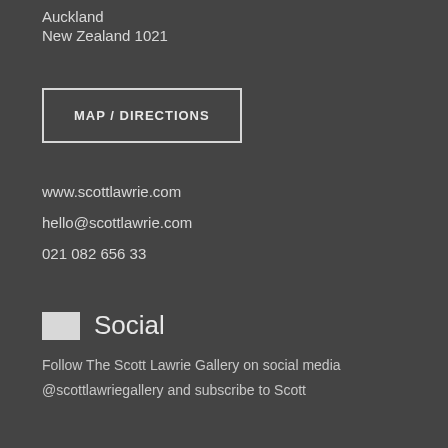Auckland
New Zealand 1021
MAP / DIRECTIONS
www.scottlawrie.com
hello@scottlawrie.com
021 082 656 33
Social
Follow The Scott Lawrie Gallery on social media @scottlawriegallery and subscribe to Scott